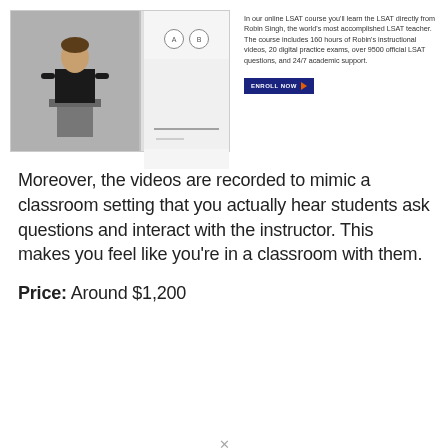[Figure (screenshot): Video thumbnail showing a man speaking at a podium on the left side and a whiteboard with A/B circles on the right side, with a play button overlay]
In our online LSAT course you'll learn the LSAT directly from Robin Singh, the world's most accomplished LSAT teacher. The course includes 160 hours of Robin's instructional videos, 20 digital practice exams, over 9500 official LSAT questions, and 24/7 academic support.
Moreover, the videos are recorded to mimic a classroom setting that you actually hear students ask questions and interact with the instructor. This makes you feel like you're in a classroom with them.
Price: Around $1,200